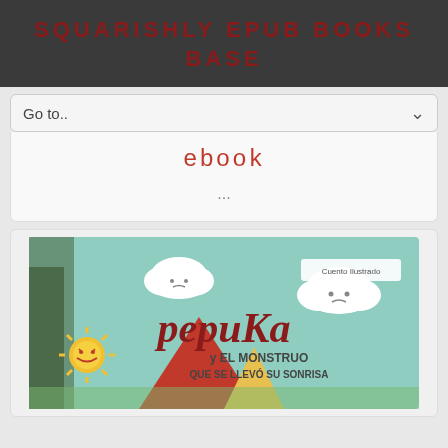SQUARISHLY EPUB BOOKS BASE
Go to..
ebook
...
[Figure (illustration): Book cover of 'Pepuka y el monstruo que se llevó su sonrisa' (Pepuka and the monster that took away her smile), a children's illustrated story (Cuento Ilustrado). The cover shows cartoon cloud characters with faces, an angry sun character, colorful lettering of 'pepuKa' in dark red, and the subtitle 'y el monstruo que se llevó su sonrisa' on a teal/mint background.]